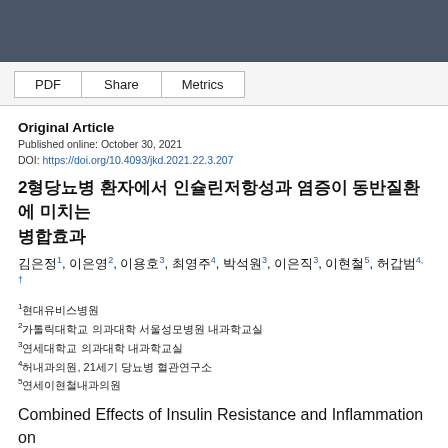PDF  Share  Metrics
Original Article
Published online: October 30, 2021
DOI: https://doi.org/10.4093/jkd.2021.22.3.207
2형당뇨병 환자에서 인슐린저항성과 염증이 동반질환에 미치는 병합효과
김은정1, 이은영2, 이용호3, 최영주4, 박석원3, 이은직3, 이현철5, 허갑범4, †
1현대유비스병원
2가톨릭대학교 의과대학 서울성모병원 내과학교실
3연세대학교 의과대학 내과학교실
4허내과의원, 21세기 당뇨병 혈관연구소
5연세이현철내과의원
Combined Effects of Insulin Resistance and Inflammation on Comorbidities of Type 2 Diabetes
Eun Jung Kim1, Eun Young Lee2, Yong-Ho Lee3, Young Ju Choi4,